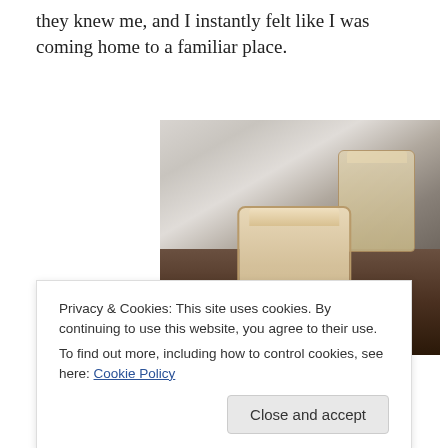they knew me, and I instantly felt like I was coming home to a familiar place.
[Figure (photo): Two edible cookie cups/mugs made from baked dough, sitting on a dark surface. The front cup is a rounded rectangular shape in tan/beige color. A second cup is visible in the background, slightly out of focus.]
Privacy & Cookies: This site uses cookies. By continuing to use this website, you agree to their use.
To find out more, including how to control cookies, see here: Cookie Policy
Close and accept